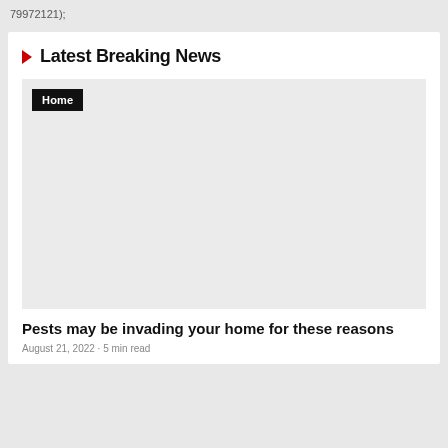79972121);
Latest Breaking News
[Figure (other): Gray placeholder image area with a black 'Home' badge in the top-left corner]
Pests may be invading your home for these reasons
August 21, 2022 · 5 min read